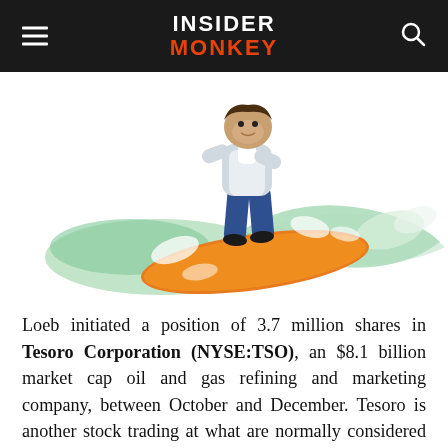INSIDER MONKEY
[Figure (illustration): Cartoon illustration of a monkey in business attire surfing on an orange surfboard through green waves]
Loeb initiated a position of 3.7 million shares in Tesoro Corporation (NYSE:TSO), an $8.1 billion market cap oil and gas refining and marketing company, between October and December. Tesoro is another stock trading at what are normally considered value levels- the trailing earnings multiple is 11 and it's far out there with higher with potential.